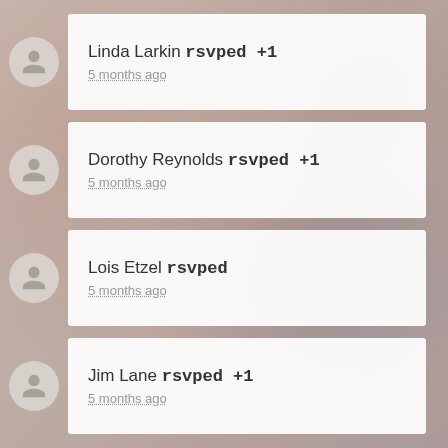Linda Larkin rsvped +1 — 5 months ago
Dorothy Reynolds rsvped +1 — 5 months ago
Lois Etzel rsvped — 5 months ago
Jim Lane rsvped +1 — 5 months ago